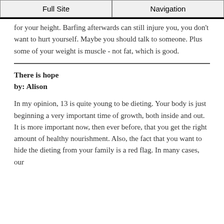Full Site | Navigation
for your height. Barfing afterwards can still injure you, you don't want to hurt yourself. Maybe you should talk to someone. Plus some of your weight is muscle - not fat, which is good.
There is hope
by: Alison
In my opinion, 13 is quite young to be dieting. Your body is just beginning a very important time of growth, both inside and out. It is more important now, then ever before, that you get the right amount of healthy nourishment. Also, the fact that you want to hide the dieting from your family is a red flag. In many cases, our